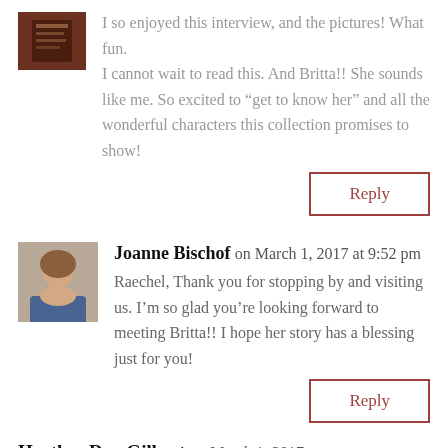I so enjoyed this interview, and the pictures! What fun.
I cannot wait to read this. And Britta!! She sounds like me. So excited to "get to know her" and all the wonderful characters this collection promises to show!
Reply
Joanne Bischof on March 1, 2017 at 9:52 pm
Raechel, Thank you for stopping by and visiting us. I'm so glad you're looking forward to meeting Britta!! I hope her story has a blessing just for you!
Reply
Heather Day Gilbert on March 1, 2017